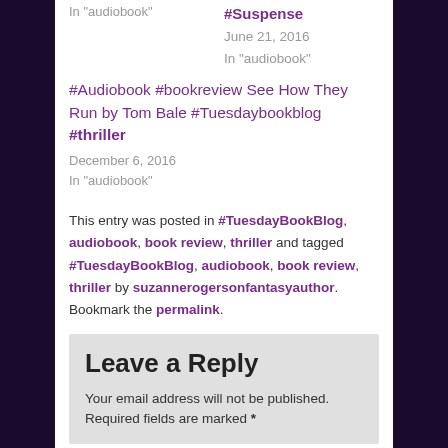In "audiobook"
#Suspense
June 21, 2016
In "audiobook"
#Audiobook #bookreview See How They Run by Tom Bale #Tuesdaybookblog #thriller
December 6, 2016
In "audiobook"
This entry was posted in #TuesdayBookBlog, audiobook, book review, thriller and tagged #TuesdayBookBlog, audiobook, book review, thriller by suzannerogersonfantasyauthor. Bookmark the permalink.
Leave a Reply
Your email address will not be published. Required fields are marked *